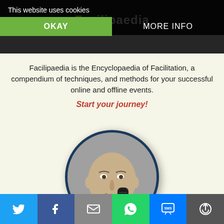Facilipaedia
This website uses cookies
OKAY | MORE INFO
Facilipaedia is the Encyclopaedia of Facilitation, a compendium of techniques, and methods for your successful online and offline events.
Start your journey!
[Figure (photo): Black and white circular portrait of a bald man holding a finger to his head near a microphone]
[Figure (infographic): Social share bar with Twitter, Facebook, Email, WhatsApp, SMS, and More buttons]